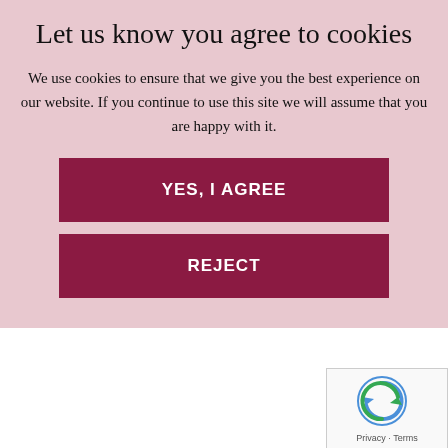Let us know you agree to cookies
We use cookies to ensure that we give you the best experience on our website. If you continue to use this site we will assume that you are happy with it.
YES, I AGREE
REJECT
5pm. (PLEASE NOTE: these hours are shorter than those offered for other services at Fleet Street Clinic). Book your appointment today.
If you have any further questions about the flu other travel vaccinations, our experienced team of